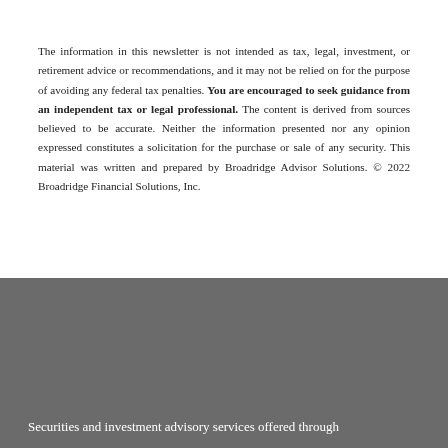The information in this newsletter is not intended as tax, legal, investment, or retirement advice or recommendations, and it may not be relied on for the purpose of avoiding any federal tax penalties. You are encouraged to seek guidance from an independent tax or legal professional. The content is derived from sources believed to be accurate. Neither the information presented nor any opinion expressed constitutes a solicitation for the purchase or sale of any security. This material was written and prepared by Broadridge Advisor Solutions. © 2022 Broadridge Financial Solutions, Inc.
Securities and investment advisory services offered through